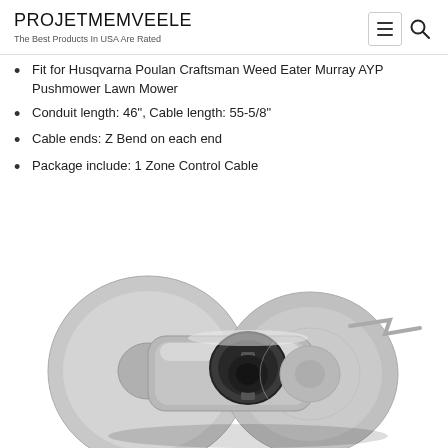PROJETMEMVEELE
The Best Products In USA Are Rated
Fit for Husqvarna Poulan Craftsman Weed Eater Murray AYP Pushmower Lawn Mower
Conduit length: 46", Cable length: 55-5/8"
Cable ends: Z Bend on each end
Package include: 1 Zone Control Cable
[Figure (photo): Close-up photo of a metal pulley or cable connector component — a silver/grey metal piece with a circular hub and flanged disc, showing internal slot detail, likely a zone control cable component for a lawn mower.]